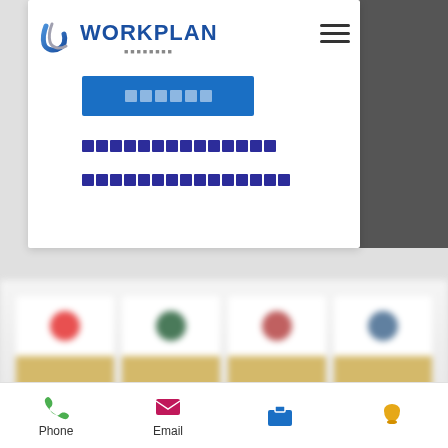[Figure (screenshot): Mobile app screenshot showing Workplan logo with navigation hamburger menu, a blue button with placeholder squares, and two rows of placeholder text squares below on white card background]
[Figure (screenshot): Blurred section showing four product cards with colored circles on top and yellow/gold bands at bottom]
Phone   Email